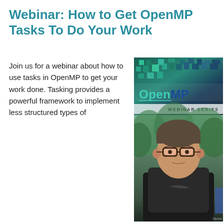Webinar: How to Get OpenMP Tasks To Do Your Work
Join us for a webinar about how to use tasks in OpenMP to get your work done. Tasking provides a powerful framework to implement less structured types of
[Figure (photo): OpenMP Webinar Series promotional image showing the OpenMP logo on a pixelated teal/dark background with 'WEBINAR SERIES' text, and a photo of a middle-aged man wearing glasses and a dark shirt, with outdoor greenery visible in the background.]